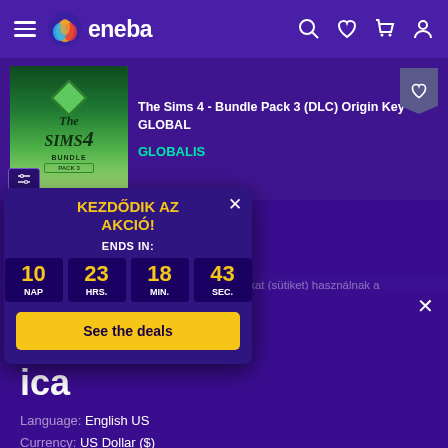eneba — navigation header with hamburger menu, logo, search, wishlist, cart, account icons
[Figure (screenshot): The Sims 4 Bundle Pack 3 DLC product listing with game cover image]
The Sims 4 - Bundle Pack 3 (DLC) Origin Key GLOBAL
GLOBALIS
[Figure (infographic): Sale popup banner: KEZDŐDIK AZ AKCIÓ! ENDS IN: 10 NAP 23 HRS. 18 MIN. 43 SEC. See the deals button]
oi cookie-kat (sütiket) használnak a
e in
d States of ica
Language: English US
Currency: US Dollar ($)
Would you like to see a local version of the site?
Yes